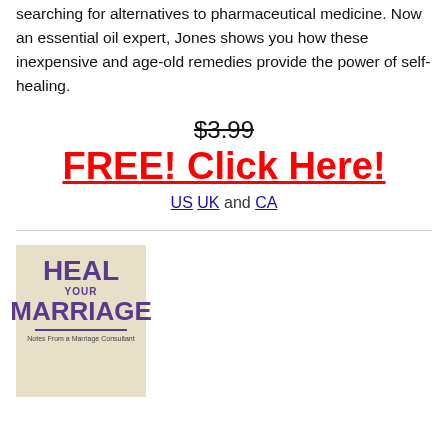searching for alternatives to pharmaceutical medicine. Now an essential oil expert, Jones shows you how these inexpensive and age-old remedies provide the power of self-healing.
$3.99
FREE! Click Here!
US UK and CA
[Figure (illustration): Book cover for 'Heal Your Marriage - Notes From a Marriage Consultant' with beige background and purple text]
Heal Your Marriage - Notes From a Marriage Consultant